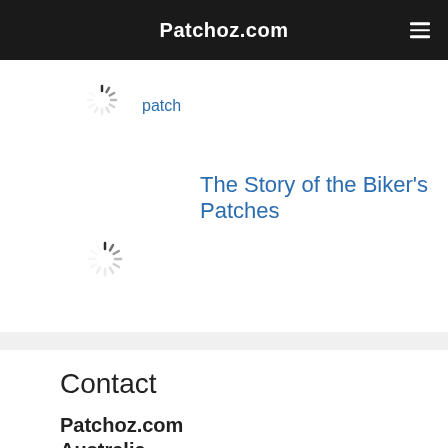Patchoz.com
[Figure (other): Loading spinner icon (gray radial lines)]
patch
The Story of the Biker’s Patches
[Figure (other): Loading spinner icon (gray radial lines)]
Contact
Patchoz.com
Australia